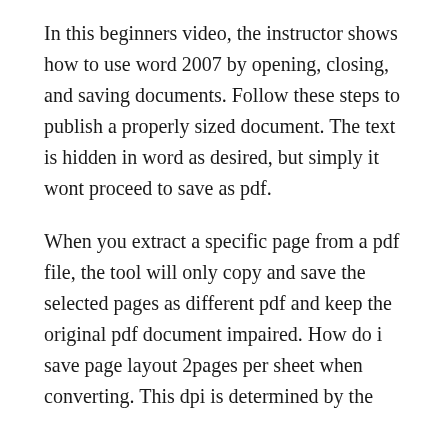In this beginners video, the instructor shows how to use word 2007 by opening, closing, and saving documents. Follow these steps to publish a properly sized document. The text is hidden in word as desired, but simply it wont proceed to save as pdf.
When you extract a specific page from a pdf file, the tool will only copy and save the selected pages as different pdf and keep the original pdf document impaired. How do i save page layout 2pages per sheet when converting. This dpi is determined by the